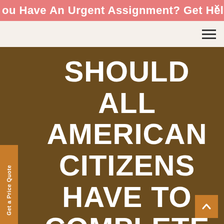You Have An Urgent Assignment? Get Help No
[Figure (screenshot): Navigation bar with hamburger menu icon on light beige background]
SHOULD ALL AMERICAN CITIZENS HAVE TO COMPLETE A YEAR OF COMMUNITY
Get a Price Quote
[Figure (other): Scroll to top button with upward arrow, orange background, bottom right corner]